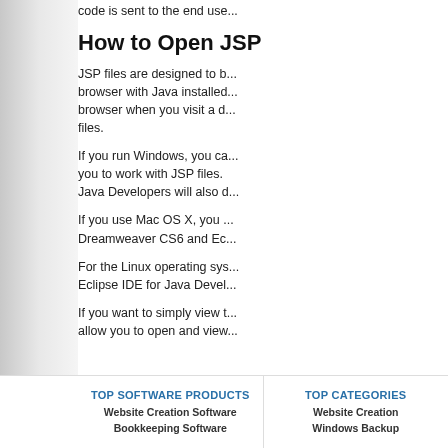code is sent to the end use...
How to Open JSP
JSP files are designed to be opened by a browser with Java installed... browser when you visit a d... files.
If you run Windows, you ca... you to work with JSP files. Java Developers will also d...
If you use Mac OS X, you ... Dreamweaver CS6 and Ec...
For the Linux operating sys... Eclipse IDE for Java Devel...
If you want to simply view t... allow you to open and view...
TOP SOFTWARE PRODUCTS
Website Creation Software
Bookkeeping Software
TOP CATEGORIES
Website Creation
Windows Backup